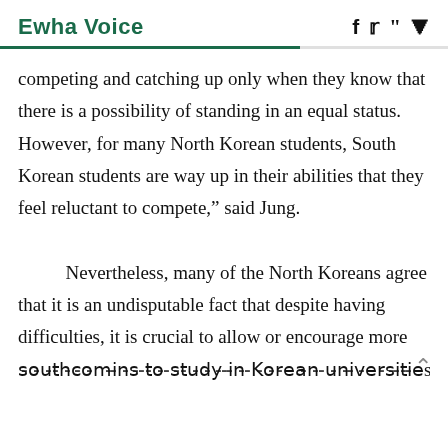Ewha Voice
competing and catching up only when they know that there is a possibility of standing in an equal status. However, for many North Korean students, South Korean students are way up in their abilities that they feel reluctant to compete,” said Jung.

Nevertheless, many of the North Koreans agree that it is an undisputable fact that despite having difficulties, it is crucial to allow or encourage more southcomins to study in Korean universities